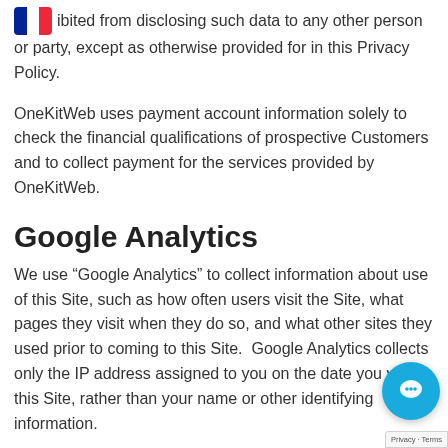ibited from disclosing such data to any other person or party, except as otherwise provided for in this Privacy Policy.
OneKitWeb uses payment account information solely to check the financial qualifications of prospective Customers and to collect payment for the services provided by OneKitWeb.
Google Analytics
We use “Google Analytics” to collect information about use of this Site, such as how often users visit the Site, what pages they visit when they do so, and what other sites they used prior to coming to this Site.  Google Analytics collects only the IP address assigned to you on the date you visit this Site, rather than your name or other identifying information.
Google Analytics plants a permanent cookie on your web browser to identify you as a unique user the
[Figure (other): French flag icon in top-left corner, and live chat widget bubble (blue circle with chat icon) overlaid near bottom-right, with reCAPTCHA badge]